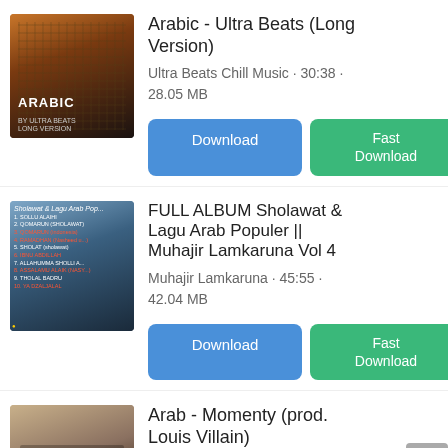[Figure (photo): Album art for Arabic - Ultra Beats (Long Version), dark photo of person with mesh face covering, orange/dark tones, text ARABIC BY ULTRA BEATS LONG VERSION]
Arabic - Ultra Beats (Long Version)
Ultra Beats Chill Music · 30:38 · 28.05 MB
[Figure (screenshot): Download button (blue) and Fast Download button (green)]
[Figure (photo): Album art for FULL ALBUM Sholawat & Lagu Arab Populer - Muhajir Lamkaruna Vol 4, mosque background with tracklist text]
FULL ALBUM Sholawat & Lagu Arab Populer || Muhajir Lamkaruna Vol 4
Muhajir Lamkaruna · 45:55 · 42.04 MB
[Figure (screenshot): Download button (blue) and Fast Download button (green)]
[Figure (photo): Partial album art for Arab - Momenty (prod. Louis Villain)]
Arab - Momenty (prod. Louis Villain)